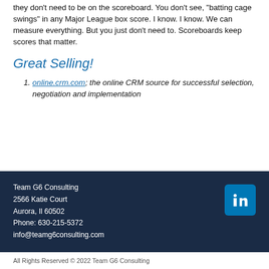they don't need to be on the scoreboard.  You don't see, "batting cage swings" in any Major League box score.  I know.  I know.  We can measure everything.  But you just don't need to.  Scoreboards keep scores that matter.
Great Selling!
online.crm.com; the online CRM source for successful selection, negotiation and implementation
Team G6 Consulting
2566 Katie Court
Aurora, Il 60502
Phone: 630-215-5372
info@teamg6consulting.com
All Rights Reserved © 2022 Team G6 Consulting